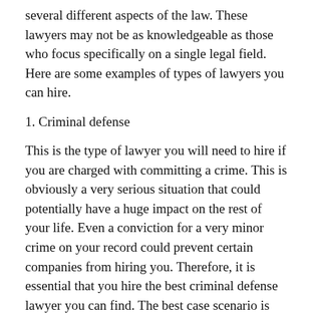several different aspects of the law. These lawyers may not be as knowledgeable as those who focus specifically on a single legal field. Here are some examples of types of lawyers you can hire.
1. Criminal defense
This is the type of lawyer you will need to hire if you are charged with committing a crime. This is obviously a very serious situation that could potentially have a huge impact on the rest of your life. Even a conviction for a very minor crime on your record could prevent certain companies from hiring you. Therefore, it is essential that you hire the best criminal defense lawyer you can find. The best case scenario is that your lawyer will be able to get the charges against you dropped and your case thrown out of court. If this is not possible, you will need to hire a lawyer who can assemble an adequate defense that will cause the jury to find you not guilty. However, your lawyer